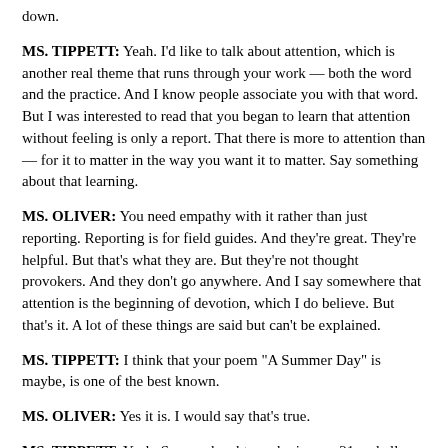down.
MS. TIPPETT: Yeah. I’d like to talk about attention, which is another real theme that runs through your work — both the word and the practice. And I know people associate you with that word. But I was interested to read that you began to learn that attention without feeling is only a report. That there is more to attention than — for it to matter in the way you want it to matter. Say something about that learning.
MS. OLIVER: You need empathy with it rather than just reporting. Reporting is for field guides. And they’re great. They’re helpful. But that’s what they are. But they’re not thought provokers. And they don’t go anywhere. And I say somewhere that attention is the beginning of devotion, which I do believe. But that’s it. A lot of these things are said but can’t be explained.
MS. TIPPETT: I think that your poem “A Summer Day” is maybe, is one of the best known.
MS. OLIVER: Yes it is. I would say that’s true.
MS. TIPPETT: Yeah. So, my daughter, who is now 21 and all grown up, but who then was about 12, was assigned to memorize “A Summer Day.”